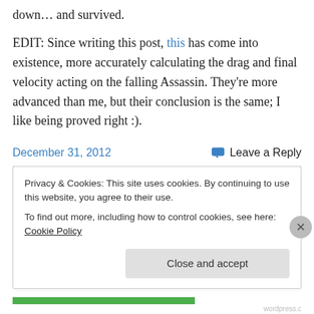down… and survived.
EDIT: Since writing this post, this has come into existence, more accurately calculating the drag and final velocity acting on the falling Assassin. They're more advanced than me, but their conclusion is the same; I like being proved right :).
December 31, 2012
Leave a Reply
Other Deliting Stuff
Privacy & Cookies: This site uses cookies. By continuing to use this website, you agree to their use.
To find out more, including how to control cookies, see here: Cookie Policy